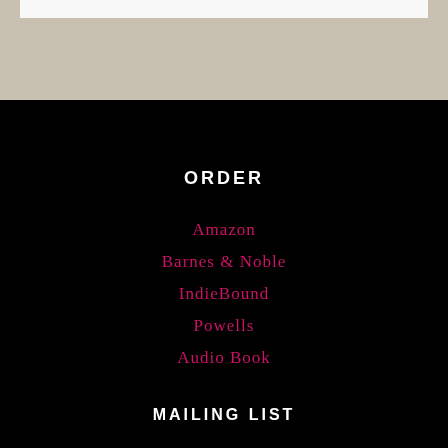ORDER
Amazon
Barnes & Noble
IndieBound
Powells
Audio Book
MAILING LIST